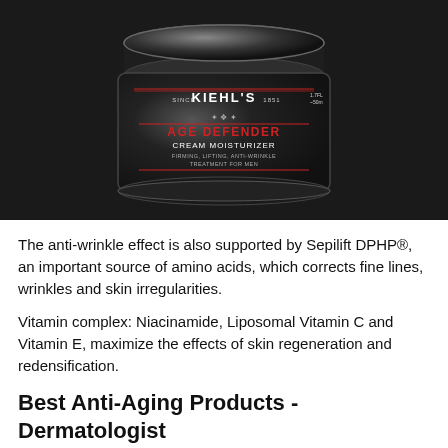[Figure (photo): Kiehl's Age Defender Cream Moisturizer jar product photo on dark background. Black jar with silver lid, red and white label reading: SINCE KIEHL'S 1851, Age Defender Cream Moisturizer, Firming, Lifting, Anti-Wrinkle Treatment for Men. 1.7 FL OZ / 50ml.]
The anti-wrinkle effect is also supported by Sepilift DPHP®, an important source of amino acids, which corrects fine lines, wrinkles and skin irregularities.
Vitamin complex: Niacinamide, Liposomal Vitamin C and Vitamin E, maximize the effects of skin regeneration and redensification.
Best Anti-Aging Products - Dermatologist